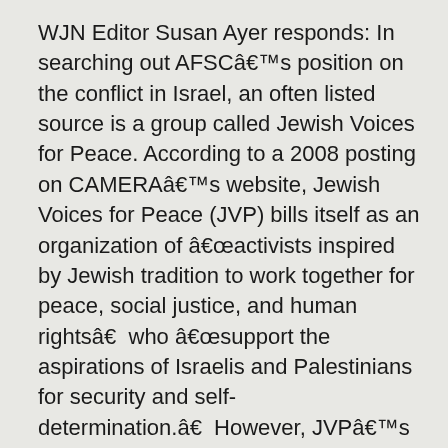WJN Editor Susan Ayer responds: In searching out AFSCâ€™s position on the conflict in Israel, an often listed source is a group called Jewish Voices for Peace. According to a 2008 posting on CAMERAâ€™s website, Jewish Voices for Peace (JVP) bills itself as an organization of â€œactivists inspired by Jewish tradition to work together for peace, social justice, and human rightsâ€ who â€œsupport the aspirations of Israelis and Palestinians for security and self-determination.â€ However, JVPâ€™s moral outrage is decidedly one-sided, directed overwhelmingly at Israel. (http://www.camera.org/index.asp?x_context=2&x_outlet=108&x_article=1498). Checking on other links from the AFSC website reveals a similar bias. In 1947, the American Friends Service Committee (AFSC) and British Friends Service Committee were awarded the...